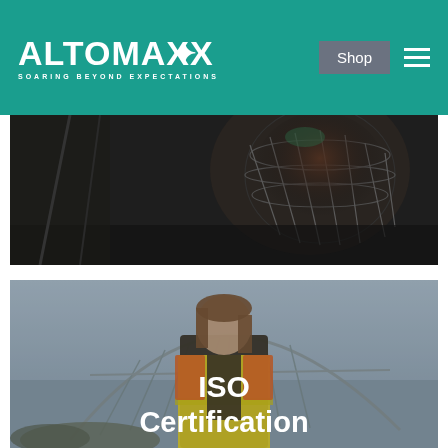[Figure (logo): AltoMaxx logo - white text on teal background with tagline 'Soaring Beyond Expectations' and drone icon]
[Figure (photo): Dark indoor photo of a spherical drone or device with geometric wire frame cage structure]
[Figure (photo): Person in yellow high-visibility jacket standing in front of a bridge, with text overlay 'ISO Certification']